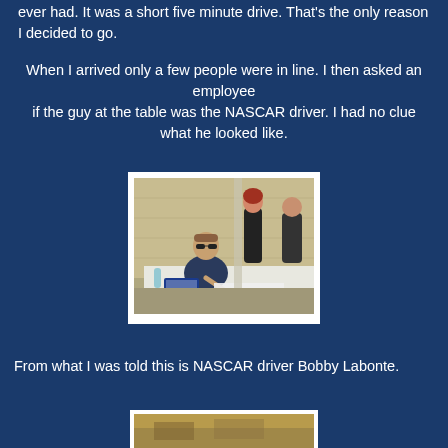ever had. It was a short five minute drive. That's the only reason I decided to go.
When I arrived only a few people were in line. I then asked an employee if the guy at the table was the NASCAR driver. I had no clue what he looked like.
[Figure (photo): A man wearing sunglasses and a dark polo shirt sits at a white-draped table, signing autographs. Two women stand in the background near a brick wall. NASCAR-branded items are visible on the table.]
From what I was told this is NASCAR driver Bobby Labonte.
[Figure (photo): Partial view of another photo at the bottom of the page, cut off.]